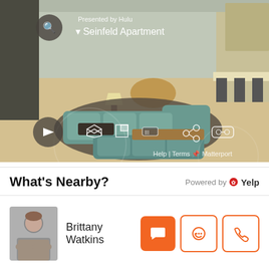[Figure (screenshot): Matterport 3D virtual tour of the Seinfeld Apartment, presented by Hulu. The room shows a living room with teal sectional sofas, a round dining table, lamp, kitchen area in background, hardwood floors, and dark area rug. Overlays show search button, location pin with 'Seinfeld Apartment', play button, 3D view, floorplan, measurement, share, and VR mode icons. Bottom bar shows Help | Terms | Matterport branding.]
What's Nearby?
Powered by Yelp
Brittany Watkins